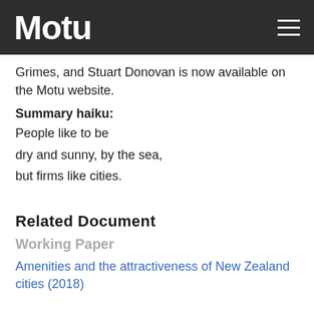Motu
Grimes, and Stuart Donovan is now available on the Motu website.
Summary haiku:
People like to be
dry and sunny, by the sea,
but firms like cities.
Related Document
Working Paper
Amenities and the attractiveness of New Zealand cities (2018)
RECENT NEWS